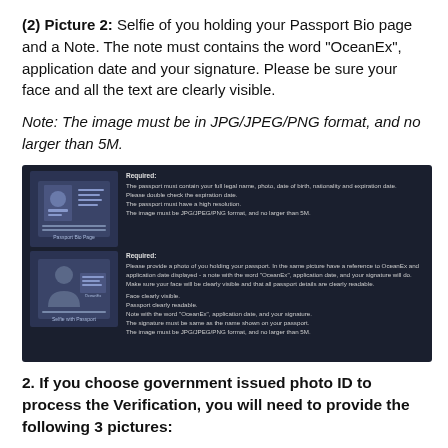(2) Picture 2: Selfie of you holding your Passport Bio page and a Note. The note must contains the word “OceanEx”, application date and your signature. Please be sure your face and all the text are clearly visible.
Note: The image must be in JPG/JPEG/PNG format, and no larger than 5M.
[Figure (illustration): Dark background instruction panel showing two rows: top row has a passport icon graphic with required text about passport contents, high resolution, and JPG/JPEG/PNG format; bottom row has a selfie-with-passport icon with required text about holding passport, OceanEx reference, face visibility, and image format requirements.]
2. If you choose government issued photo ID to process the Verification, you will need to provide the following 3 pictures: